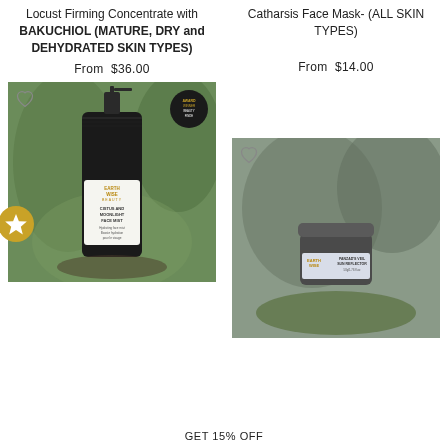Locust Firming Concentrate with BAKUCHIOL (MATURE, DRY and DEHYDRATED SKIN TYPES)
From $36.00
Catharsis Face Mask- (ALL SKIN TYPES)
From $14.00
[Figure (photo): Product photo of Earth Wise Beauty Cistus and Moonlight Face Mist spray bottle with award badge and star icon]
[Figure (photo): Product photo of Earth Wise Beauty Panzad's Veil Sun Reflector jar on mossy surface]
GET 15% OFF